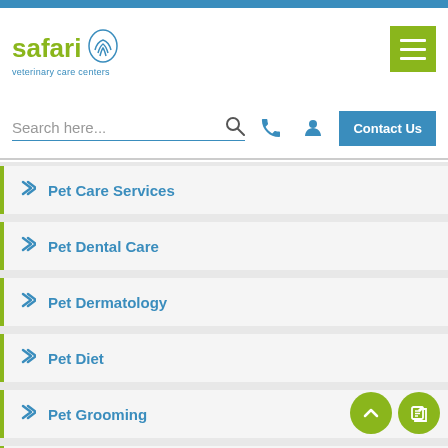[Figure (logo): Safari Veterinary Care Centers logo with green fingerprint/paw icon]
[Figure (screenshot): Green hamburger menu button (three white lines on green background)]
Search here...
[Figure (other): Contact Us blue button, phone icon, user icon]
Pet Care Services
Pet Dental Care
Pet Dermatology
Pet Diet
Pet Grooming
Pet Health Care